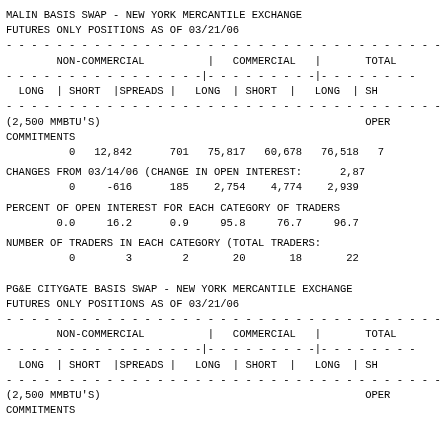MALIN BASIS SWAP - NEW YORK MERCANTILE EXCHANGE
FUTURES ONLY POSITIONS AS OF 03/21/06
| NON-COMMERCIAL (LONG, SHORT, SPREADS) | COMMERCIAL (LONG, SHORT) | TOTAL (LONG, SHORT) |
| --- | --- | --- |
| (2,500 MMBTU'S) |  |  |  |  |  | OPEN |
| COMMITMENTS |  |  |  |  |  |  |
| 0 | 12,842 | 701 | 75,817 | 60,678 | 76,518 | 7... |
| CHANGES FROM 03/14/06 (CHANGE IN OPEN INTEREST: 2,87 |  |  |  |  |  |  |
| 0 | -616 | 185 | 2,754 | 4,774 | 2,939 |  |
| PERCENT OF OPEN INTEREST FOR EACH CATEGORY OF TRADERS |  |  |  |  |  |  |
| 0.0 | 16.2 | 0.9 | 95.8 | 76.7 | 96.7 |  |
| NUMBER OF TRADERS IN EACH CATEGORY (TOTAL TRADERS: |  |  |  |  |  |  |
| 0 | 3 | 2 | 20 | 18 | 22 |  |
PG&E CITYGATE BASIS SWAP - NEW YORK MERCANTILE EXCHANGE
FUTURES ONLY POSITIONS AS OF 03/21/06
| NON-COMMERCIAL (LONG, SHORT, SPREADS) | COMMERCIAL (LONG, SHORT) | TOTAL (LONG, SHORT) |
| --- | --- | --- |
| (2,500 MMBTU'S) |  |  |  |  |  | OPEN |
| COMMITMENTS |  |  |  |  |  |  |